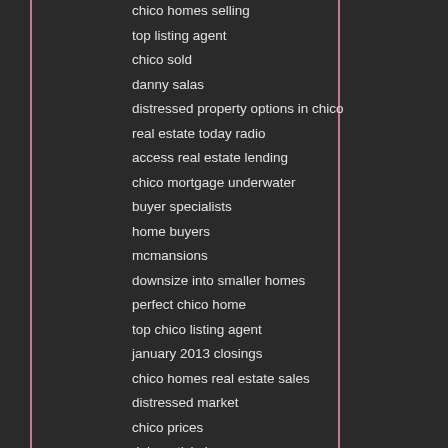chico homes selling
top listing agent
chico sold
danny salas
distressed property options in chico
real estate today radio
access real estate lending
chico mortgage underwater
buyer specialists
home buyers
mcmansions
downsize into smaller homes
perfect chico home
top chico listing agent
january 2013 closings
chico homes real estate sales
distressed market
chico prices
debra stickel
sandi bauman team chico
4330 foothill boulevard oroville ca